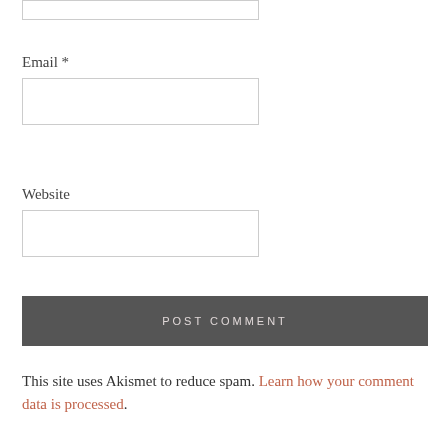[Figure (screenshot): Partial input box at top of page (Name or similar field, cropped)]
Email *
[Figure (screenshot): Email input text field, empty]
Website
[Figure (screenshot): Website input text field, empty]
POST COMMENT
This site uses Akismet to reduce spam. Learn how your comment data is processed.